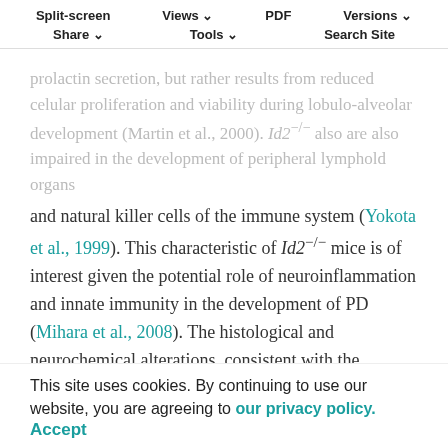Split-screen  Views  PDF  Versions  Share  Tools  Search Site
prolactin secretion, but rather results from reduced celular proliferation and viability during lobulo-alveolar development (Martin et al., 2000). Id2−/− also are also impaired in the development of peripheral lymphold organs and natural killer cells of the immune system (Yokota et al., 1999). This characteristic of Id2−/− mice is of interest given the potential role of neuroinflammation and innate immunity in the development of PD (Mihara et al., 2008). The histological and neurochemical alterations, consistent with the behavioral changes we observe, are the predominant phenotype of Id2−/− mice at the ages we have analyzed and we reason that symptoms would be increasingly evident at even later ages. Although we have not explored the paradoxical effects of Id2 deletion at advanced ages using this model system, germ-line deletion of Id2 provides a platform for studying the
This site uses cookies. By continuing to use our website, you are agreeing to our privacy policy. Accept